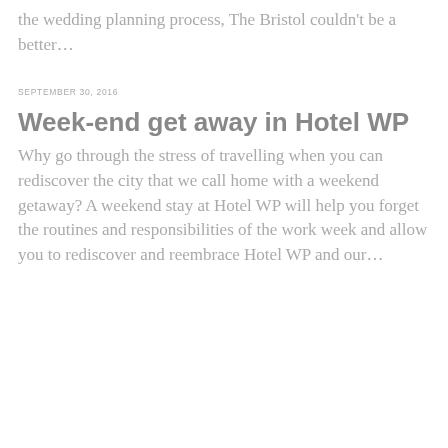the wedding planning process, The Bristol couldn't be a better…
SEPTEMBER 30, 2016
Week-end get away in Hotel WP
Why go through the stress of travelling when you can rediscover the city that we call home with a weekend getaway? A weekend stay at Hotel WP will help you forget the routines and responsibilities of the work week and allow you to rediscover and reembrace Hotel WP and our…